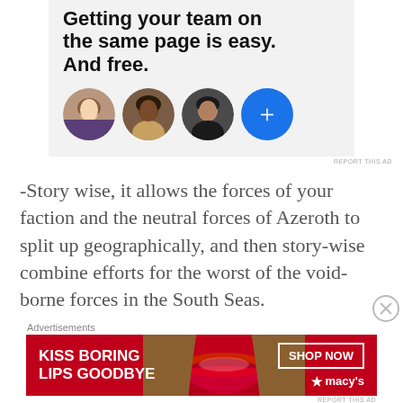[Figure (screenshot): Advertisement banner with bold text 'Getting your team on the same page is easy. And free.' on a light gray background, with three circular profile photo avatars and a blue circle with a plus sign]
REPORT THIS AD
-Story wise, it allows the forces of your faction and the neutral forces of Azeroth to split up geographically, and then story-wise combine efforts for the worst of the void-borne forces in the South Seas.
Advertisements
[Figure (screenshot): Macy's advertisement banner with red background, text 'KISS BORING LIPS GOODBYE', image of lips, and 'SHOP NOW' button with Macy's star logo]